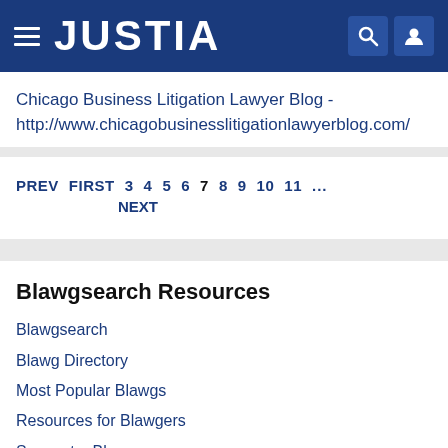JUSTIA
Chicago Business Litigation Lawyer Blog - http://www.chicagobusinesslitigationlawyerblog.com/
PREV FIRST 3 4 5 6 7 8 9 10 11 ... NEXT
Blawgsearch Resources
Blawgsearch
Blawg Directory
Most Popular Blawgs
Resources for Blawgers
Suggest a Blawg
Legal Birds (Twitterers)